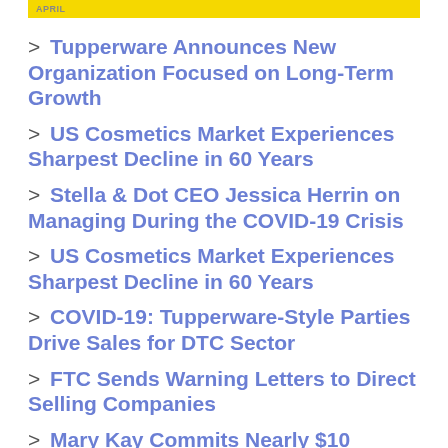APRIL
Tupperware Announces New Organization Focused on Long-Term Growth
US Cosmetics Market Experiences Sharpest Decline in 60 Years
Stella & Dot CEO Jessica Herrin on Managing During the COVID-19 Crisis
US Cosmetics Market Experiences Sharpest Decline in 60 Years
COVID-19: Tupperware-Style Parties Drive Sales for DTC Sector
FTC Sends Warning Letters to Direct Selling Companies
Mary Kay Commits Nearly $10 Million to Global COVID-19 Support